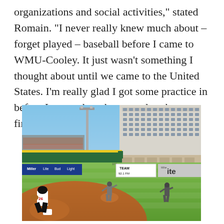organizations and social activities," stated Romain. "I never really knew much about – forget played – baseball before I came to WMU-Cooley. It just wasn't something I thought about until we came to the United States. I'm really glad I got some practice in before I stepped on the mound to throw a first pitch at Cooley for Kids though!
[Figure (photo): A baseball field scene showing a catcher wearing jersey number 26 crouched at home plate, a pitcher on the mound, and another player in the outfield. The outfield wall is green, with advertising signs including TEAM 92.1 FM and Miller Lite visible. A building with many windows is visible in the right background beyond the outfield wall.]